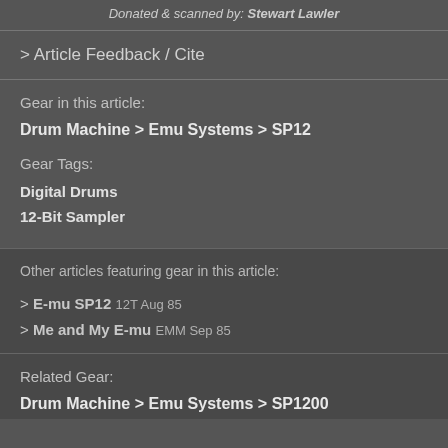Donated & scanned by: Stewart Lawler
> Article Feedback / Cite
Gear in this article:
Drum Machine > Emu Systems > SP12
Gear Tags:
Digital Drums
12-Bit Sampler
Other articles featuring gear in this article:
> E-mu SP12 12T Aug 85
> Me and My E-mu EMM Sep 85
Related Gear:
Drum Machine > Emu Systems > SP1200